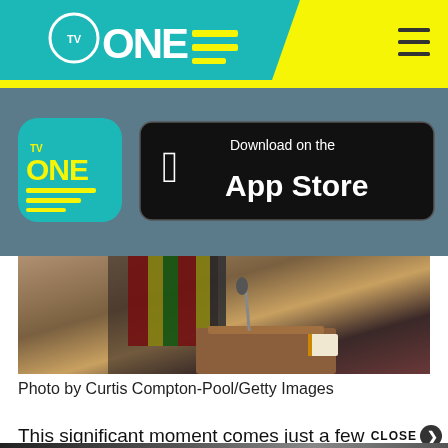[Figure (logo): TV One logo on teal diagonal header bar with yellow background and hamburger menu icon]
[Figure (screenshot): TV One app icon and Download on the App Store button on dark teal-gray background]
[Figure (photo): Photo showing a podium with Kente cloth draped over it and a microphone, partially cropped]
Photo by Curtis Compton-Pool/Getty Images
This significant moment comes just a few
[Figure (screenshot): Advertisement banner showing a Cadillac car with text TAKING ORDERS MAY 19]